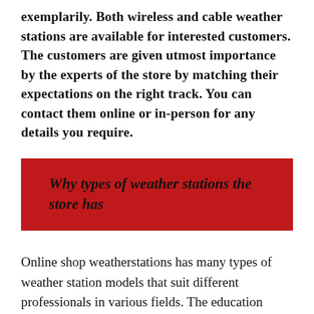exemplarily. Both wireless and cable weather stations are available for interested customers. The customers are given utmost importance by the experts of the store by matching their expectations on the right track. You can contact them online or in-person for any details you require.
Why types of weather stations the store has
Online shop weatherstations has many types of weather station models that suit different professionals in various fields. The education professionals, club members, and weather website technical people require these weather stations for their purposes. The technicians of the store help customers in all areas. The customers can call the